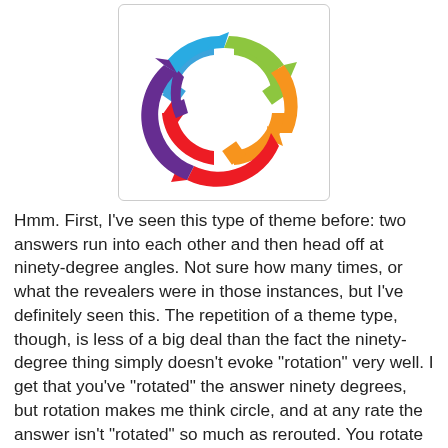[Figure (logo): Circular logo with colorful arrows (blue, green, orange/yellow, red, purple) arranged in a rotating/recycling pattern on a white background with a light gray border.]
Hmm. First, I've seen this type of theme before: two answers run into each other and then head off at ninety-degree angles. Not sure how many times, or what the revealers were in those instances, but I've definitely seen this. The repetition of a theme type, though, is less of a big deal than the fact the ninety-degree thing simply doesn't evoke "rotation" very well. I get that you've "rotated" the answer ninety degrees, but rotation makes me think circle, and at any rate the answer isn't "rotated" so much as rerouted. You rotate around an axis, which is not what is happening here. So whatever is happening here is neither like crop rotation nor like spatial rotation, so I don't know what it is. Despite having just three "crops" in it, the puzzle is kind of impressive, architecturally, especially since two of the "rotating" pairs of answers end up overlapping (i.e. ELECTRIC runs through DUCHESS, though they are not part of the same "rotation"). And there's some nice fill in